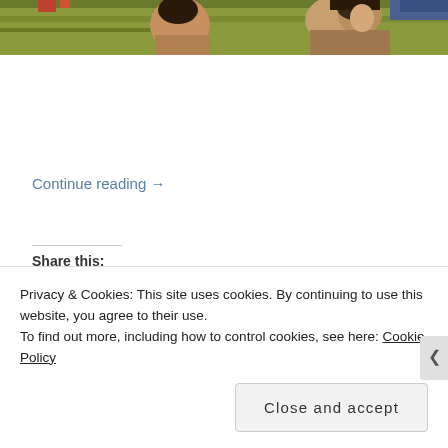[Figure (illustration): Anime screenshot showing characters, top strip of page]
Continue reading →
Share this:
[Figure (other): Social sharing icons: Twitter (blue), Facebook (blue), Reddit (light blue), Tumblr (dark navy), Email (grey)]
Privacy & Cookies: This site uses cookies. By continuing to use this website, you agree to their use.
To find out more, including how to control cookies, see here: Cookie Policy
Close and accept